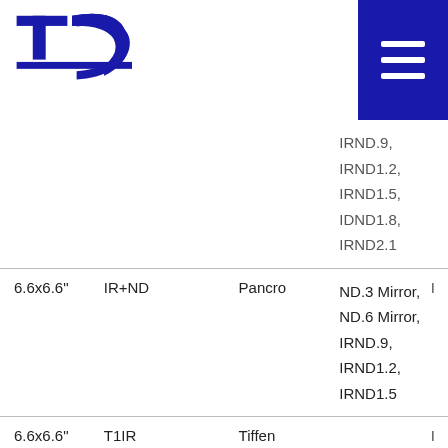TCS logo and navigation menu
| Size | Type | Brand | Filters |  |
| --- | --- | --- | --- | --- |
|  |  |  | IRND.9,
IRND1.2,
IRND1.5,
IDND1.8,
IRND2.1 |  |
| 6.6x6.6" | IR+ND | Pancro | ND.3 Mirror,
ND.6 Mirror,
IRND.9,
IRND1.2,
IRND1.5 | I |
| 6.6x6.6" | T1IR | Tiffen |  | I |
| 6.6x6.6" | RHOdium FSND | Schneider | FSND.3,
FSND.6,
FSND.9,
FSND1.2
FSND1.5 | I |